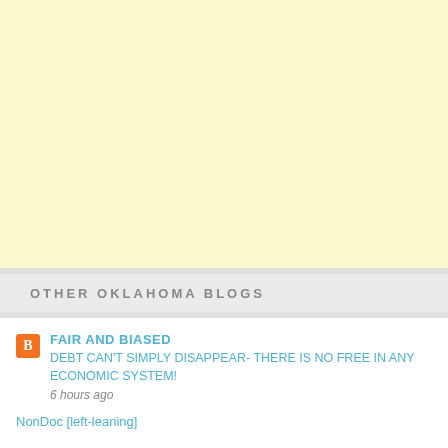[Figure (other): Advertisement placeholder area with pale yellow background]
OTHER OKLAHOMA BLOGS
FAIR AND BIASED
DEBT CAN'T SIMPLY DISAPPEAR- THERE IS NO FREE IN ANY ECONOMIC SYSTEM!
6 hours ago
NonDoc [left-leaning]